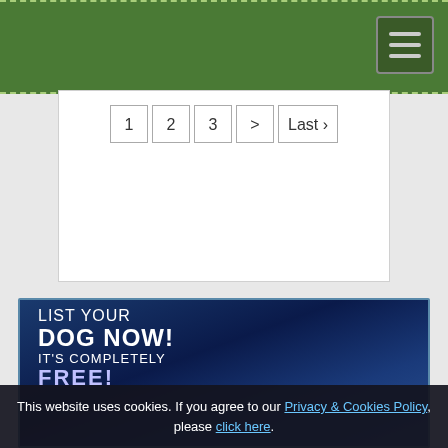1  2  3  >  Last ›
[Figure (illustration): Advertisement banner with dark blue gradient background reading: LIST YOUR DOG NOW! IT'S COMPLETELY FREE!]
This website uses cookies. If you agree to our Privacy & Cookies Policy, please click here.